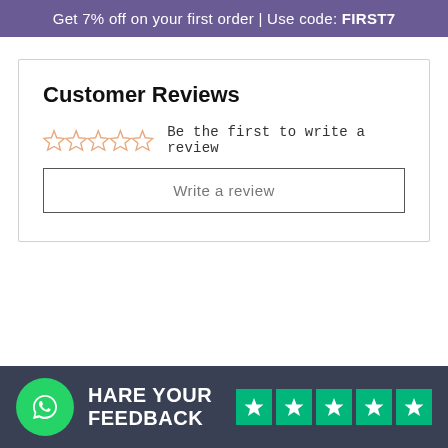Get 7% off on your first order | Use code: FIRST7
Customer Reviews
☆ ☆ ☆ ☆ ☆  Be the first to write a review
Write a review
HARE YOUR FEEDBACK